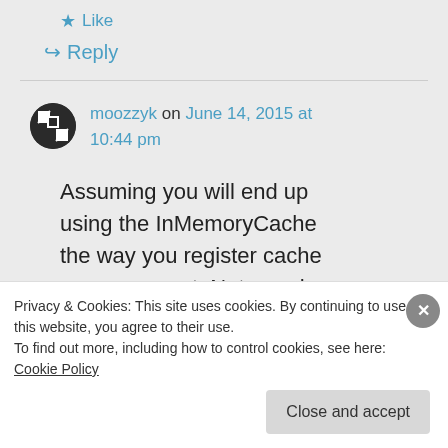★ Like
↪ Reply
moozzyk on June 14, 2015 at 10:44 pm
Assuming you will end up using the InMemoryCache the way you register cache seems correct. Not sure how
Privacy & Cookies: This site uses cookies. By continuing to use this website, you agree to their use.
To find out more, including how to control cookies, see here: Cookie Policy
Close and accept